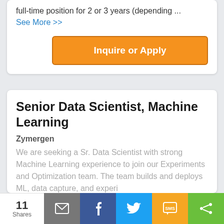full-time position for 2 or 3 years (depending ...
See More >>
Inquire or Apply
Senior Data Scientist, Machine Learning
Zymergen
We are seeking a Sr. Data Scientist with strong Machine Learning experience to join our Experiments and Optimization team. The team builds and deploys ML, data capture, and experi
11 Shares